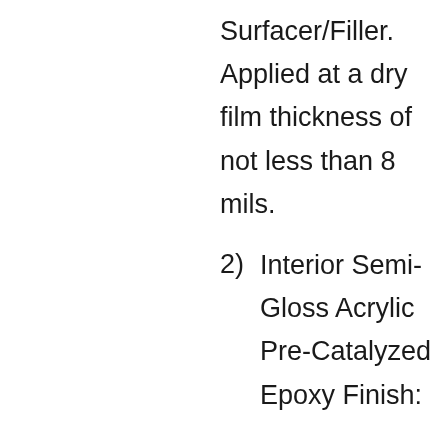Surfacer/Filler. Applied at a dry film thickness of not less than 8 mils.
2) Interior Semi-Gloss Acrylic Pre-Catalyzed Epoxy Finish: